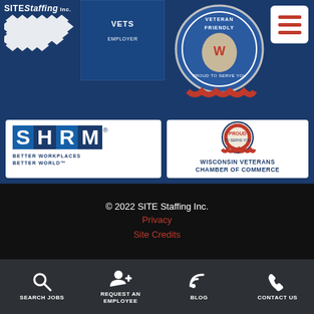[Figure (logo): SITE Staffing Inc. logo with diamond grid pattern and company name in white italic text on dark blue background]
[Figure (logo): Vets employer badge on dark blue background]
[Figure (logo): Veteran Friendly badge circular seal on dark blue background top right]
[Figure (logo): SHRM Better Workplaces Better World logo badge]
[Figure (logo): Wisconsin Veterans Chamber of Commerce badge with seal and text: PROUD TO SERVE YOU]
© 2022 SITE Staffing Inc.
Privacy
Site Credits
SEARCH JOBS | REQUEST AN EMPLOYEE | BLOG | CONTACT US